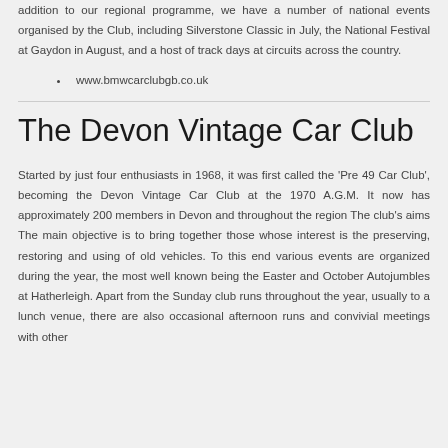addition to our regional programme, we have a number of national events organised by the Club, including Silverstone Classic in July, the National Festival at Gaydon in August, and a host of track days at circuits across the country.
www.bmwcarclubgb.co.uk
The Devon Vintage Car Club
Started by just four enthusiasts in 1968, it was first called the 'Pre 49 Car Club', becoming the Devon Vintage Car Club at the 1970 A.G.M. It now has approximately 200 members in Devon and throughout the region The club's aims The main objective is to bring together those whose interest is the preserving, restoring and using of old vehicles. To this end various events are organized during the year, the most well known being the Easter and October Autojumbles at Hatherleigh. Apart from the Sunday club runs throughout the year, usually to a lunch venue, there are also occasional afternoon runs and convivial meetings with other